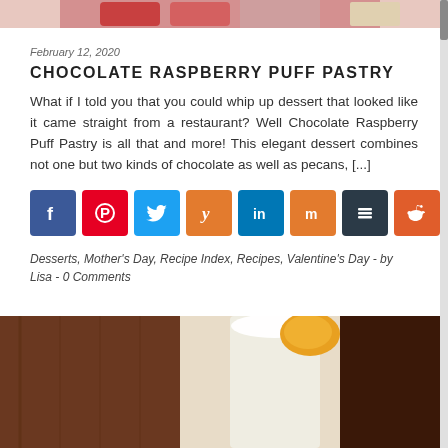[Figure (photo): Top portion of a food photo showing raspberries and pastry]
February 12, 2020
CHOCOLATE RASPBERRY PUFF PASTRY
What if I told you that you could whip up dessert that looked like it came straight from a restaurant? Well Chocolate Raspberry Puff Pastry is all that and more! This elegant dessert combines not one but two kinds of chocolate as well as pecans, [...]
[Figure (infographic): Row of social media share buttons: Facebook, Pinterest, Twitter, Yummly, LinkedIn, Mix, Buffer, Reddit]
Desserts, Mother's Day, Recipe Index, Recipes, Valentine's Day  -  by Lisa  -  0 Comments
[Figure (photo): Bottom photo showing a glass of white/cream colored drink with orange garnish on a dark wood background]